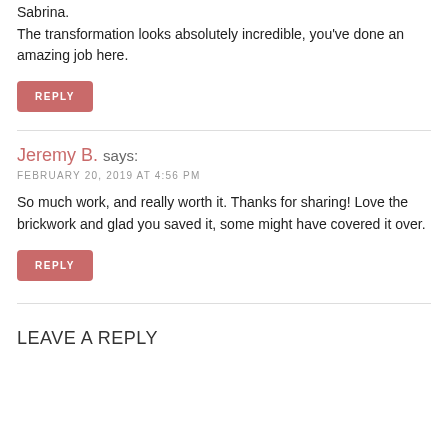Sabrina.
The transformation looks absolutely incredible, you've done an amazing job here.
REPLY
Jeremy B. says:
FEBRUARY 20, 2019 AT 4:56 PM
So much work, and really worth it. Thanks for sharing! Love the brickwork and glad you saved it, some might have covered it over.
REPLY
LEAVE A REPLY